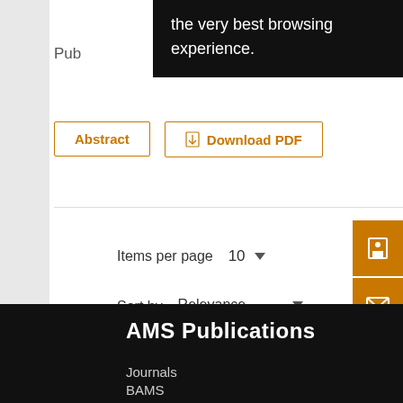the very best browsing experience.
Pub
Abstract
Download PDF
Items per page 10
Sort by Relevance
Page: 1 2 3
AMS Publications
Journals
BAMS